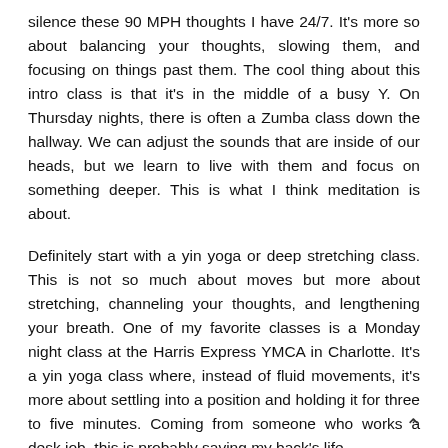silence these 90 MPH thoughts I have 24/7. It's more so about balancing your thoughts, slowing them, and focusing on things past them. The cool thing about this intro class is that it's in the middle of a busy Y. On Thursday nights, there is often a Zumba class down the hallway. We can adjust the sounds that are inside of our heads, but we learn to live with them and focus on something deeper. This is what I think meditation is about.
Definitely start with a yin yoga or deep stretching class. This is not so much about moves but more about stretching, channeling your thoughts, and lengthening your breath. One of my favorite classes is a Monday night class at the Harris Express YMCA in Charlotte. It's a yin yoga class where, instead of fluid movements, it's more about settling into a position and holding it for three to five minutes. Coming from someone who works a desk job, this is probably saving my back's life.
For anyone based in Charlotte, if you're interested in checking out yoga, let me know. You can even find a friend or family member who is a member of the Y and visit for free.